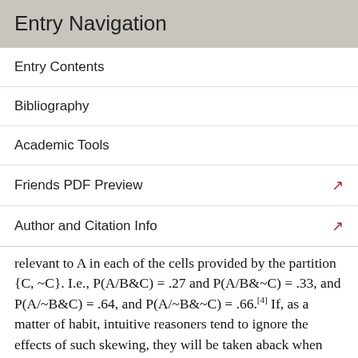Entry Navigation
Entry Contents
Bibliography
Academic Tools
Friends PDF Preview
Author and Citation Info
relevant to A in each of the cells provided by the partition {C, ~C}. I.e., P(A/B&C) = .27 and P(A/B&~C) = .33, and P(A/~B&C) = .64, and P(A/~B&~C) = .66.[4] If, as a matter of habit, intuitive reasoners tend to ignore the effects of such skewing, they will be taken aback when Simpson's Reversals turn up in actual and possible data. Of course, it is an empirical question whether such oversight is the source of invalid reasoning, or whether another hypothesis better explains why many people find Simpson's Reversals to be impossible at first, and why the reversals continue to be surprising even after their source